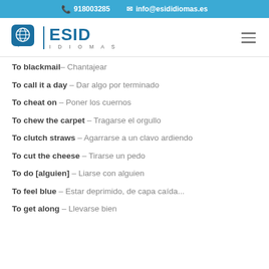918003285  info@esididiomas.es
[Figure (logo): ESID Idiomas logo with speech bubble icon containing globe lines]
To blackmail – Chantajear
To call it a day – Dar algo por terminado
To cheat on – Poner los cuernos
To chew the carpet – Tragarse el orgullo
To clutch straws – Agarrarse a un clavo ardiendo
To cut the cheese – Tirarse un pedo
To do [alguien] – Liarse con alguien
To feel blue – Estar deprimido, de capa caída...
To get along – Llevarse bien